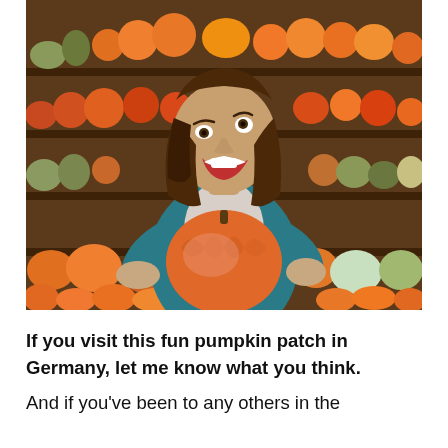[Figure (photo): A woman with shoulder-length brown hair wearing a teal cardigan and a floral sweater, laughing and holding up a large orange pumpkin toward the camera, standing in front of shelves stacked with many colorful pumpkins and gourds of various sizes and colors in orange, red, green, and yellow.]
If you visit this fun pumpkin patch in Germany, let me know what you think. And if you've been to any others in the